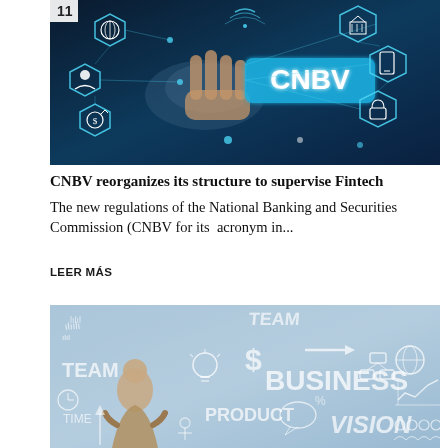[Figure (photo): A dark blue digital technology background with hexagonal icons (globe, person, bank, lock, piggy bank, phone, wifi) connected by circuit lines, with a glowing CNBV label in the center. A hand is touching a digital interface. Number '11' appears in top left corner.]
CNBV reorganizes its structure to supervise Fintech
The new regulations of the National Banking and Securities Commission (CNBV for its  acronym in...
LEER MÁS
[Figure (photo): A business concept image showing a man in a suit viewed from behind looking at a chalkboard filled with business-related words and icons: TEAM, $, BUSINESS, PRODUCT, VISION, TIME, and various hand-drawn icons including a lightbulb, globe, chart, arrows, speech bubbles, people icons, and organizational charts.]